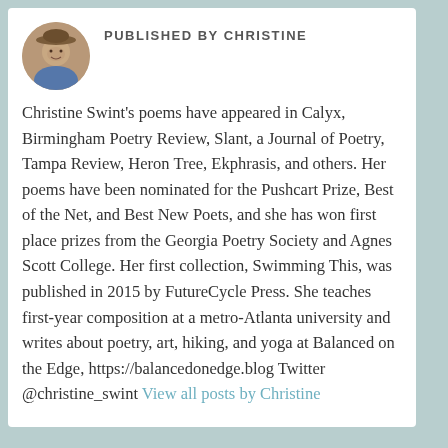PUBLISHED BY CHRISTINE
[Figure (photo): Circular avatar photo of Christine wearing a hat, shown from shoulders up]
Christine Swint's poems have appeared in Calyx, Birmingham Poetry Review, Slant, a Journal of Poetry, Tampa Review, Heron Tree, Ekphrasis, and others. Her poems have been nominated for the Pushcart Prize, Best of the Net, and Best New Poets, and she has won first place prizes from the Georgia Poetry Society and Agnes Scott College. Her first collection, Swimming This, was published in 2015 by FutureCycle Press. She teaches first-year composition at a metro-Atlanta university and writes about poetry, art, hiking, and yoga at Balanced on the Edge, https://balancedonedge.blog Twitter @christine_swint View all posts by Christine